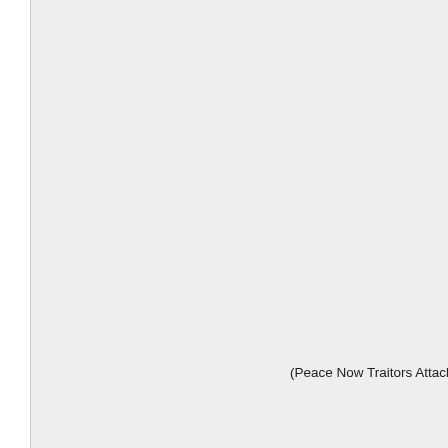(Peace Now Traitors Attack JTF's Forum -